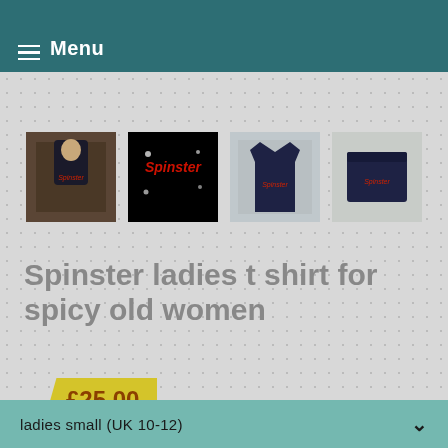Menu
[Figure (photo): Four thumbnail images of a dark navy t-shirt with 'Spinster' text in red glittery font: woman wearing shirt, close-up of logo on black background, front view of shirt, folded shirt view.]
Spinster ladies t shirt for spicy old women
£25.00
which size would you like?
ladies small (UK 10-12)